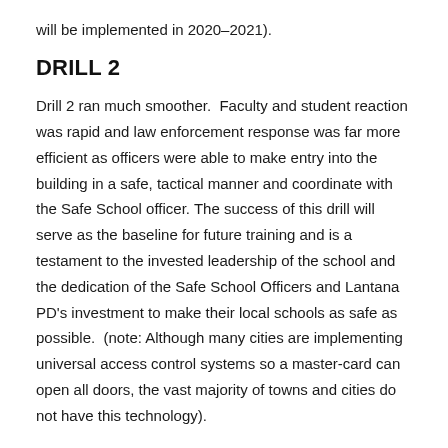will be implemented in 2020–2021).
DRILL 2
Drill 2 ran much smoother.  Faculty and student reaction was rapid and law enforcement response was far more efficient as officers were able to make entry into the building in a safe, tactical manner and coordinate with the Safe School officer. The success of this drill will serve as the baseline for future training and is a testament to the invested leadership of the school and the dedication of the Safe School Officers and Lantana PD's investment to make their local schools as safe as possible.  (note: Although many cities are implementing universal access control systems so a master-card can open all doors, the vast majority of towns and cities do not have this technology).